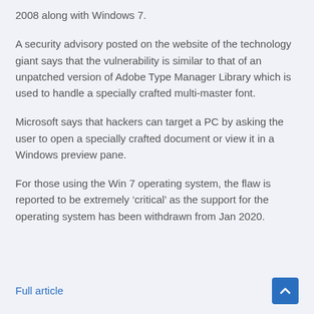2008 along with Windows 7.
A security advisory posted on the website of the technology giant says that the vulnerability is similar to that of an unpatched version of Adobe Type Manager Library which is used to handle a specially crafted multi-master font.
Microsoft says that hackers can target a PC by asking the user to open a specially crafted document or view it in a Windows preview pane.
For those using the Win 7 operating system, the flaw is reported to be extremely ‘critical’ as the support for the operating system has been withdrawn from Jan 2020.
Full article